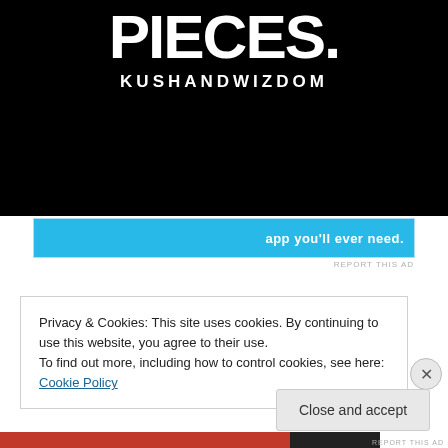[Figure (illustration): Black background image with large white bold text reading 'PIECES.' and below it 'KUSHANDWIZDOM' in smaller spaced letters]
[Figure (infographic): Blue banner advertisement showing 'app you'll ever need.' text in white on cyan/blue background with robot/character graphics]
REPORT THIS AD
Privacy & Cookies: This site uses cookies. By continuing to use this website, you agree to their use.
To find out more, including how to control cookies, see here: Cookie Policy
Close and accept